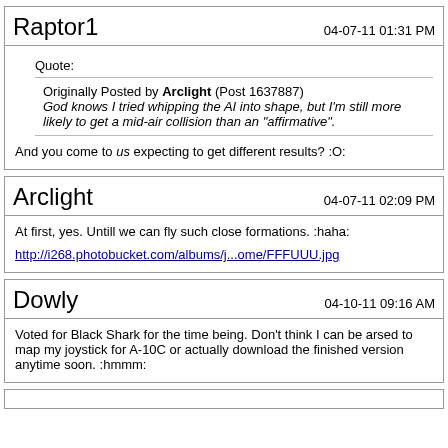Raptor1
04-07-11 01:31 PM
Quote: Originally Posted by Arclight (Post 1637887) God knows I tried whipping the AI into shape, but I'm still more likely to get a mid-air collision than an "affirmative".
And you come to us expecting to get different results? :O:
Arclight
04-07-11 02:09 PM
At first, yes. Untill we can fly such close formations. :haha:
http://i268.photobucket.com/albums/j...ome/FFFUUU.jpg
Dowly
04-10-11 09:16 AM
Voted for Black Shark for the time being. Don't think I can be arsed to map my joystick for A-10C or actually download the finished version anytime soon. :hmmm: